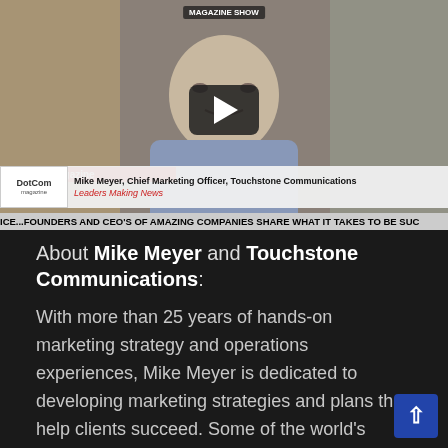[Figure (screenshot): Video thumbnail showing a man in a blue shirt with a YouTube-style play button overlay. Lower third shows DotCom Magazine branding, name 'Mike Meyer, Chief Marketing Officer, Touchstone Communications', subtitle 'Leaders Making News', and a scrolling ticker reading 'ICE...FOUNDERS AND CEO'S OF AMAZING COMPANIES SHARE WHAT IT TAKES TO BE SUC']
About Mike Meyer and Touchstone Communications:
With more than 25 years of hands-on marketing strategy and operations experiences, Mike Meyer is dedicated to developing marketing strategies and plans that help clients succeed. Some of the world's largest brands have depended on Mike for marketing programs that delivered tangible and substantial results. Specialties: Mortgage industry, B2B marketing, Intent Data, lead generation, lead nurturing, sale